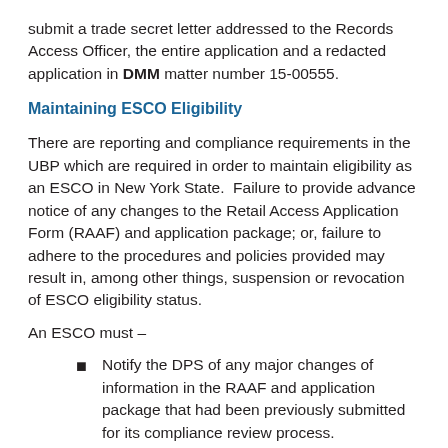submit a trade secret letter addressed to the Records Access Officer, the entire application and a redacted application in DMM matter number 15-00555.
Maintaining ESCO Eligibility
There are reporting and compliance requirements in the UBP which are required in order to maintain eligibility as an ESCO in New York State.  Failure to provide advance notice of any changes to the Retail Access Application Form (RAAF) and application package; or, failure to adhere to the procedures and policies provided may result in, among other things, suspension or revocation of ESCO eligibility status.
An ESCO must –
Notify the DPS of any major changes of information in the RAAF and application package that had been previously submitted for its compliance review process.